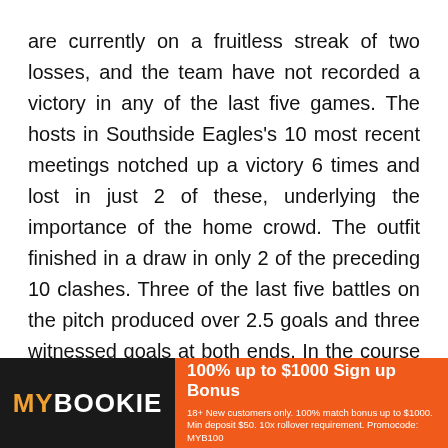are currently on a fruitless streak of two losses, and the team have not recorded a victory in any of the last five games. The hosts in Southside Eagles's 10 most recent meetings notched up a victory 6 times and lost in just 2 of these, underlying the importance of the home crowd. The outfit finished in a draw in only 2 of the preceding 10 clashes. Three of the last five battles on the pitch produced over 2.5 goals and three witnessed goals at both ends. In the course of that period, Southside Eagles did not concede on one occasion. At the same time they failed to score a goal in two of the encounters. When looking at statistics, we notice that the average number of goals scored during the team's most recent 5 outings is 2.60.
[Figure (infographic): MyBookie advertisement banner with orange background. Left side shows 'MYBOOKIE' logo on black background with 'MY' in gold and 'BOOKIE' in white. Right side shows '100% up to $1000 Sign up Bonus' in bold white text with fine print: '18+ New customers only. 100% match bonus up to $1000. Min deposit $50. 10x rollover requirement. Promocode: MYB100']